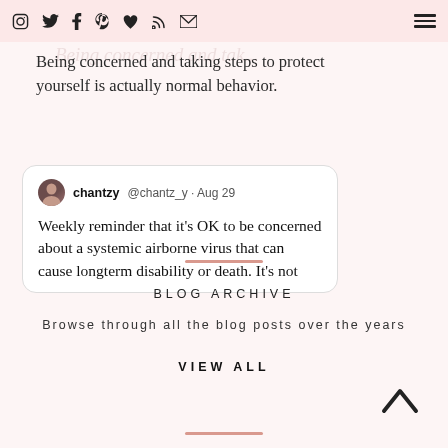Instagram Twitter Facebook Pinterest Bloglovin RSS Email [hamburger menu]
Being concerned and taking steps to protect yourself is actually normal behavior.
[Figure (screenshot): Tweet card from user chantzy (@chantz_y) · Aug 29: Weekly reminder that it's OK to be concerned about a systemic airborne virus that can cause longterm disability or death. It's not]
BLOG ARCHIVE
Browse through all the blog posts over the years
VIEW ALL